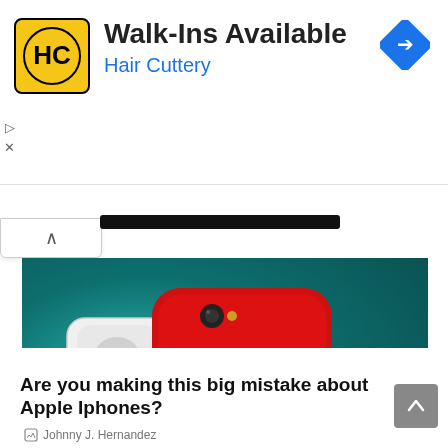[Figure (infographic): Hair Cuttery advertisement banner with yellow logo, Walk-Ins Available text, and navigation arrow icon]
[Figure (photo): Red iPhone XR lying flat on teal surface next to white AirPods case and AirPod earbuds]
CELL PHONE
Are you making this big mistake about Apple Iphones?
Johnny J. Hernandez